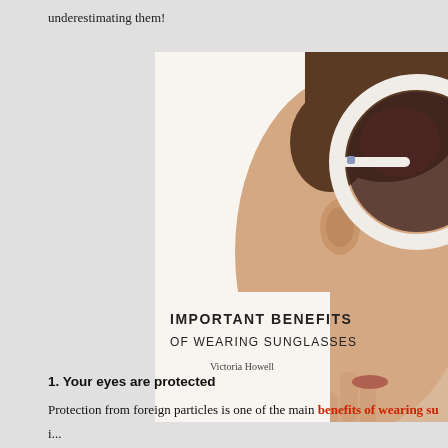underestimating them!
[Figure (photo): Photo of a woman wearing large round white-framed sunglasses, shown from the side/profile. The image also contains overlaid text: 'IMPORTANT BENEFITS OF WEARING SUNGLASSES' and 'Victoria Howell']
1. Your eyes are protected
Protection from foreign particles is one of the main benefits of wearing su...
i... ... ... ... ... ... You ... ... ... will ... ... ... ... ... if...